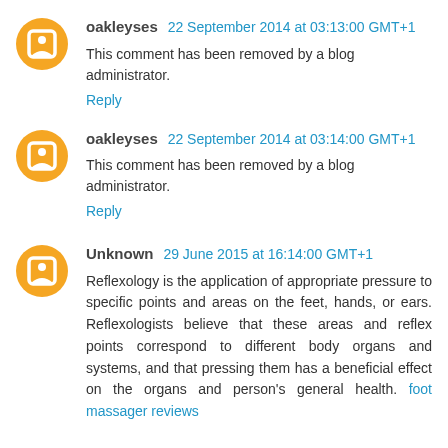oakleyses 22 September 2014 at 03:13:00 GMT+1
This comment has been removed by a blog administrator.
Reply
oakleyses 22 September 2014 at 03:14:00 GMT+1
This comment has been removed by a blog administrator.
Reply
Unknown 29 June 2015 at 16:14:00 GMT+1
Reflexology is the application of appropriate pressure to specific points and areas on the feet, hands, or ears. Reflexologists believe that these areas and reflex points correspond to different body organs and systems, and that pressing them has a beneficial effect on the organs and person's general health. foot massager reviews